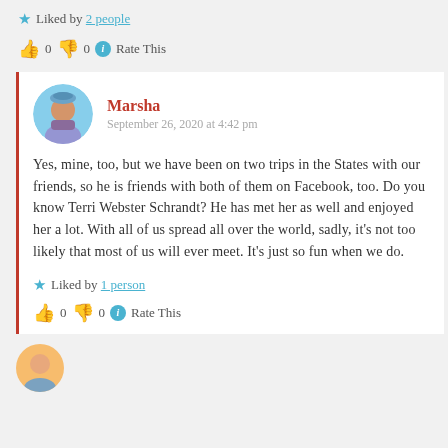Liked by 2 people
👍 0 👎 0 ℹ Rate This
Marsha
September 26, 2020 at 4:42 pm
Yes, mine, too, but we have been on two trips in the States with our friends, so he is friends with both of them on Facebook, too. Do you know Terri Webster Schrandt? He has met her as well and enjoyed her a lot. With all of us spread all over the world, sadly, it's not too likely that most of us will ever meet. It's just so fun when we do.
Liked by 1 person
👍 0 👎 0 ℹ Rate This